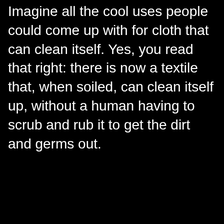Imagine all the cool uses people could come up with for cloth that can clean itself. Yes, you read that right: there is now a textile that, when soiled, can clean itself up, without a human having to scrub and rub it to get the dirt and germs out.